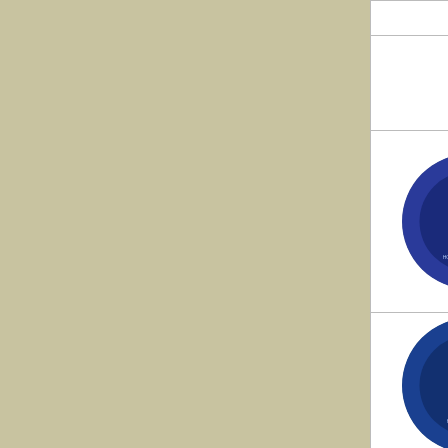| Image | Artist | Tracks |
| --- | --- | --- |
|  | Ferera | Pua C… |
|  | Hoosier Hot Shots | Margie Alex… Ragti… |
| [Vocalion record] | Hoosier Hot Shots | I Wish Shimm My Sis Breezi With T Breez… |
| [Decca record] | Frankie "Half Pint" Jaxon & The Harlem Hamfats | She B… Down (Let Th Work … |
| [Vee-Jay record] | The Harmonizing Four | Farthe… All Thi Possib… |
| [Columbia record] | Bert Williams | Every… Wants My Ce Noboc Busine My Ow… |
| [Victor record] | Collins And Harlan | Down The S Cane… |
|  | Ernest Thompson | Jesse… |